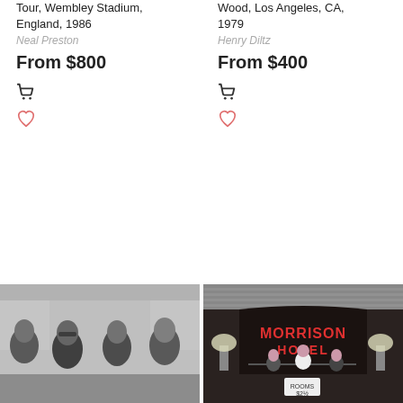Tour, Wembley Stadium, England, 1986
Neal Preston
From $800
Wood, Los Angeles, CA, 1979
Henry Diltz
From $400
[Figure (photo): Black and white photo of four young men in suits sitting in the back of a car, likely The Beatles]
[Figure (photo): Color photo of a group of people standing in front of Morrison Hotel neon sign]